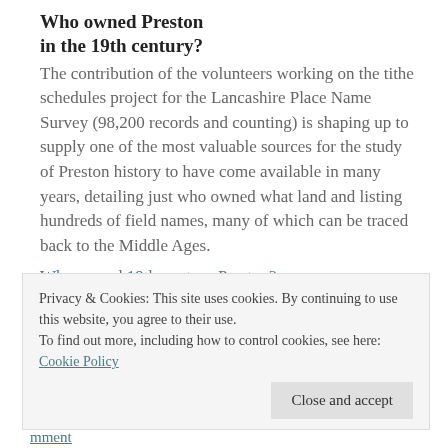Who owned Preston in the 19th century?
The contribution of the volunteers working on the tithe schedules project for the Lancashire Place Name Survey (98,200 records and counting) is shaping up to supply one of the most valuable sources for the study of Preston history to have come available in many years, detailing just who owned what land and listing hundreds of field names, many of which can be traced back to the Middle Ages.
Who owned 19th-century Preston?
Privacy & Cookies: This site uses cookies. By continuing to use this website, you agree to their use.
To find out more, including how to control cookies, see here: Cookie Policy
Close and accept